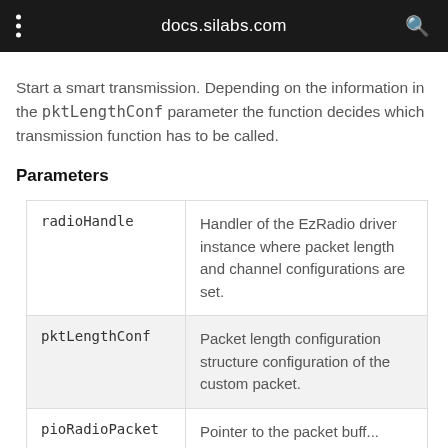docs.silabs.com
Start a smart transmission. Depending on the information in the pktLengthConf parameter the function decides which transmission function has to be called.
Parameters
| Parameter | Description |
| --- | --- |
| radioHandle | Handler of the EzRadio driver instance where packet length and channel configurations are set. |
| pktLengthConf | Packet length configuration structure configuration of the custom packet. |
| pioRadioPacket | Pointer to the packet buff... |